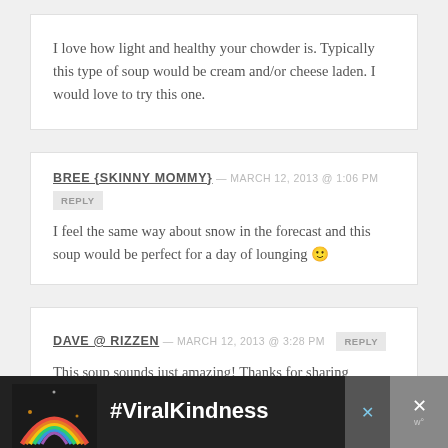I love how light and healthy your chowder is. Typically this type of soup would be cream and/or cheese laden. I would love to try this one.
BREE {SKINNY MOMMY} — MARCH 12, 2013 @ 1:06 PM
REPLY
I feel the same way about snow in the forecast and this soup would be perfect for a day of lounging 🙂
DAVE @ RIZZEN — MARCH 12, 2013 @ 3:28 PM
REPLY
This soup sounds just amazing! Thanks for sharing
[Figure (infographic): #ViralKindness advertisement banner with rainbow graphic]